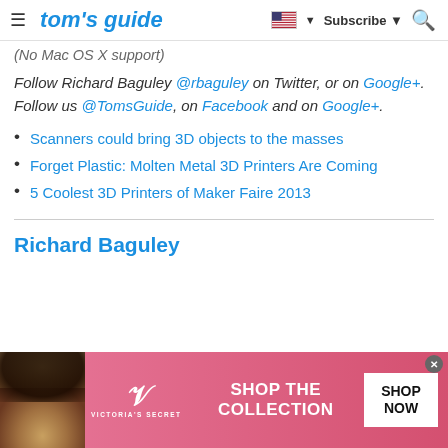tom's guide — Subscribe — [search]
(No Mac OS X support)
Follow Richard Baguley @rbaguley on Twitter, or on Google+. Follow us @TomsGuide, on Facebook and on Google+.
Scanners could bring 3D objects to the masses
Forget Plastic: Molten Metal 3D Printers Are Coming
5 Coolest 3D Printers of Maker Faire 2013
Richard Baguley
[Figure (photo): Victoria's Secret advertisement banner with model, logo, 'SHOP THE COLLECTION' text, and 'SHOP NOW' button]